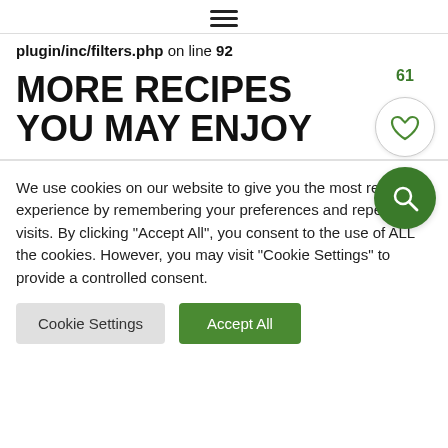≡
plugin/inc/filters.php on line 92
MORE RECIPES YOU MAY ENJOY
We use cookies on our website to give you the most relevant experience by remembering your preferences and repeat visits. By clicking "Accept All", you consent to the use of ALL the cookies. However, you may visit "Cookie Settings" to provide a controlled consent.
Cookie Settings  Accept All